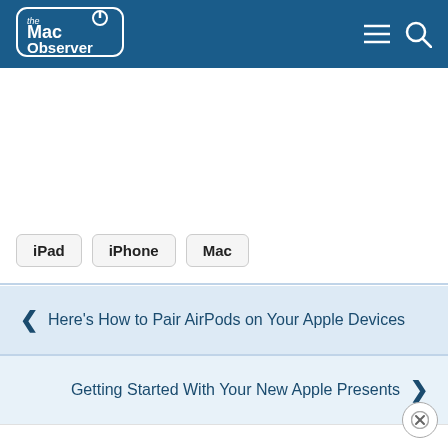[Figure (logo): The Mac Observer logo — white text on blue rounded rectangle with power button icon]
[Figure (other): Hamburger menu icon and search/magnifying glass icon in white on blue header]
iPad
iPhone
Mac
Here's How to Pair AirPods on Your Apple Devices
Getting Started With Your New Apple Presents
[Figure (other): Close/dismiss button circle with X]